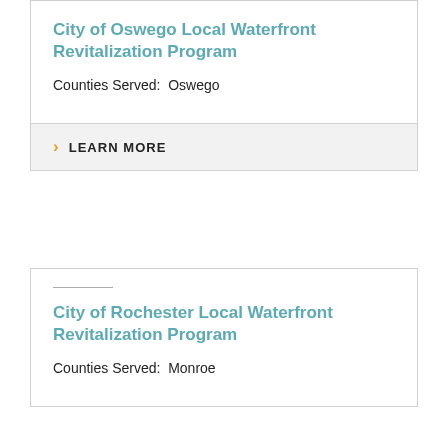City of Oswego Local Waterfront Revitalization Program
Counties Served:  Oswego
LEARN MORE
City of Rochester Local Waterfront Revitalization Program
Counties Served:  Monroe